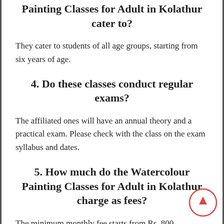Painting Classes for Adult in Kolathur cater to?
They cater to students of all age groups, starting from six years of age.
4. Do these classes conduct regular exams?
The affiliated ones will have an annual theory and a practical exam. Please check with the class on the exam syllabus and dates.
5. How much do the Watercolour Painting Classes for Adult in Kolathur charge as fees?
The minimum monthly fee starts from Rs. 800.